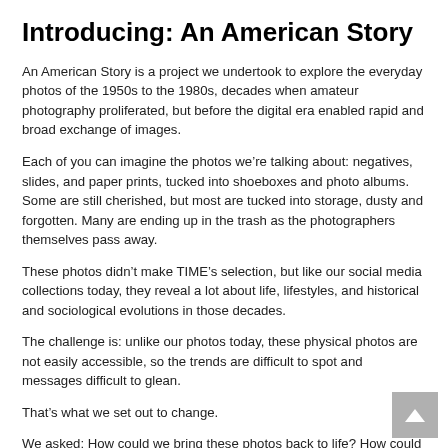Introducing: An American Story
An American Story is a project we undertook to explore the everyday photos of the 1950s to the 1980s, decades when amateur photography proliferated, but before the digital era enabled rapid and broad exchange of images.
Each of you can imagine the photos we’re talking about: negatives, slides, and paper prints, tucked into shoeboxes and photo albums. Some are still cherished, but most are tucked into storage, dusty and forgotten. Many are ending up in the trash as the photographers themselves pass away.
These photos didn’t make TIME’s selection, but like our social media collections today, they reveal a lot about life, lifestyles, and historical and sociological evolutions in those decades.
The challenge is: unlike our photos today, these physical photos are not easily accessible, so the trends are difficult to spot and messages difficult to glean.
That’s what we set out to change.
We asked: How could we bring these photos back to life? How could we